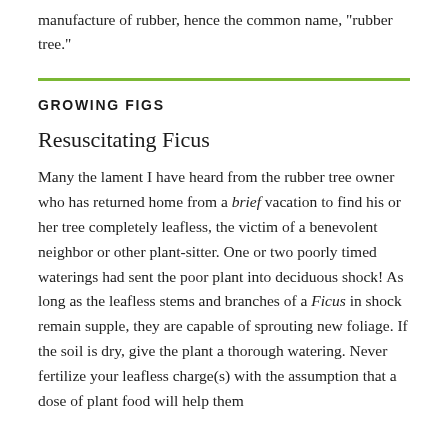manufacture of rubber, hence the common name, "rubber tree."
GROWING FIGS
Resuscitating Ficus
Many the lament I have heard from the rubber tree owner who has returned home from a brief vacation to find his or her tree completely leafless, the victim of a benevolent neighbor or other plant-sitter. One or two poorly timed waterings had sent the poor plant into deciduous shock! As long as the leafless stems and branches of a Ficus in shock remain supple, they are capable of sprouting new foliage. If the soil is dry, give the plant a thorough watering. Never fertilize your leafless charge(s) with the assumption that a dose of plant food will help them